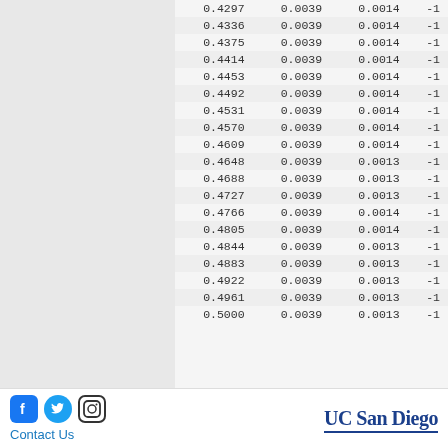| col1 | col2 | col3 | col4 |
| --- | --- | --- | --- |
| 0.4297 | 0.0039 | 0.0014 | -1 |
| 0.4336 | 0.0039 | 0.0014 | -1 |
| 0.4375 | 0.0039 | 0.0014 | -1 |
| 0.4414 | 0.0039 | 0.0014 | -1 |
| 0.4453 | 0.0039 | 0.0014 | -1 |
| 0.4492 | 0.0039 | 0.0014 | -1 |
| 0.4531 | 0.0039 | 0.0014 | -1 |
| 0.4570 | 0.0039 | 0.0014 | -1 |
| 0.4609 | 0.0039 | 0.0014 | -1 |
| 0.4648 | 0.0039 | 0.0013 | -1 |
| 0.4688 | 0.0039 | 0.0013 | -1 |
| 0.4727 | 0.0039 | 0.0013 | -1 |
| 0.4766 | 0.0039 | 0.0014 | -1 |
| 0.4805 | 0.0039 | 0.0014 | -1 |
| 0.4844 | 0.0039 | 0.0013 | -1 |
| 0.4883 | 0.0039 | 0.0013 | -1 |
| 0.4922 | 0.0039 | 0.0013 | -1 |
| 0.4961 | 0.0039 | 0.0013 | -1 |
| 0.5000 | 0.0039 | 0.0013 | -1 |
Contact Us   UC San Diego